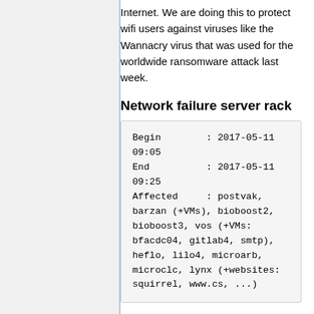Internet. We are doing this to protect wifi users against viruses like the Wannacry virus that was used for the worldwide ransomware attack last week.
Network failure server rack
Begin        : 2017-05-11 09:05
End          : 2017-05-11 09:25
Affected     : postvak, barzan (+VMs), bioboost2, bioboost3, vos (+VMs: bfacdc04, gitlab4, smtp), heflo, lilo4, microarb, microclc, lynx (+websites: squirrel, www.cs, ...)
Switch es7-huyg-04-070 of a server rack became powerless after maintenance in the computer room of C&CZ. Restoring